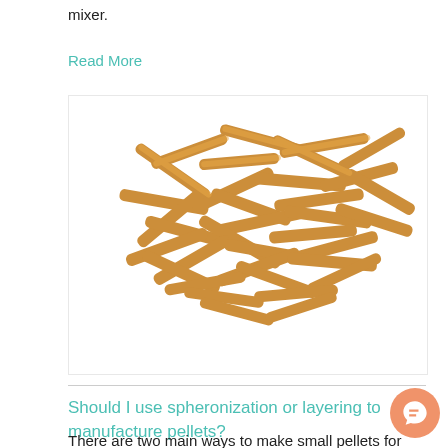mixer.
Read More
[Figure (photo): A pile of golden-brown cylindrical pellets/extrudates scattered randomly on a white background.]
Should I use spheronization or layering to manufacture pellets?
There are two main ways to make small pellets for